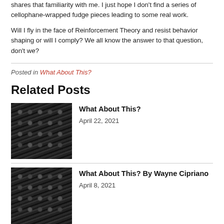shares that familiarity with me. I just hope I don't find a series of cellophane-wrapped fudge pieces leading to some real work.
Will I fly in the face of Reinforcement Theory and resist behavior shaping or will I comply? We all know the answer to that question, don't we?
Posted in What About This?
Related Posts
[Figure (photo): Close-up photo of typewriter keys, dark background with round metallic keys visible]
What About This?
April 22, 2021
[Figure (photo): Close-up photo of typewriter keys, dark background with round metallic keys visible]
What About This? By Wayne Cipriano
April 8, 2021